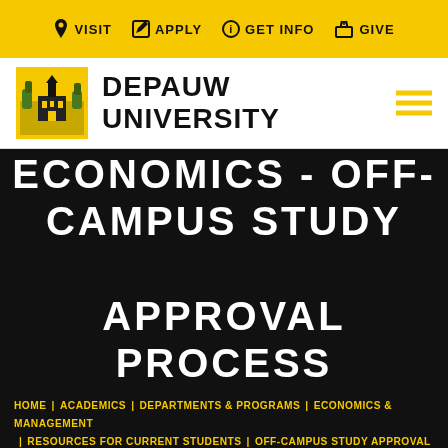VISIT  APPLY  GET INFO  GIVE
[Figure (logo): DePauw University logo with campus building illustration on yellow background and text DEPAUW UNIVERSITY]
ECONOMICS - OFF-CAMPUS STUDY APPROVAL PROCESS
HOME | ACADEMICS | DEPARTMENTS & PROGRAMS | ECONOMICS & MANAGEMENT | RESOURCES FOR CURRENT STUDENTS | OFF-CAMPUS STUDY APPROVAL PROCESS